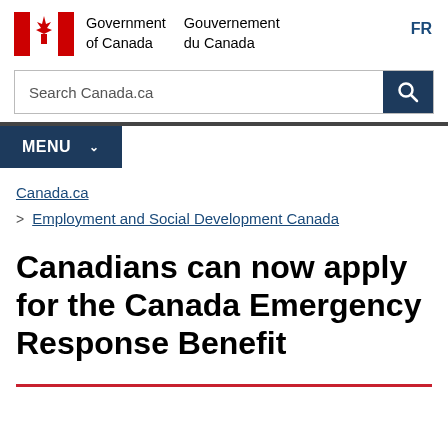[Figure (logo): Government of Canada / Gouvernement du Canada logo with Canadian flag (red maple leaf on red-and-white flag) and bilingual text]
[Figure (screenshot): Search Canada.ca search bar with dark blue search button and magnifying glass icon]
MENU
Canada.ca
> Employment and Social Development Canada
Canadians can now apply for the Canada Emergency Response Benefit